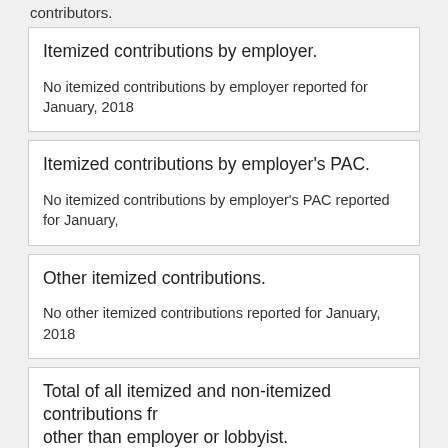contributors.
Itemized contributions by employer.
No itemized contributions by employer reported for January, 2018
Itemized contributions by employer's PAC.
No itemized contributions by employer's PAC reported for January,
Other itemized contributions.
No other itemized contributions reported for January, 2018
Total of all itemized and non-itemized contributions from other than employer or lobbyist.
No other non-itemized contributions reported for January, 2018